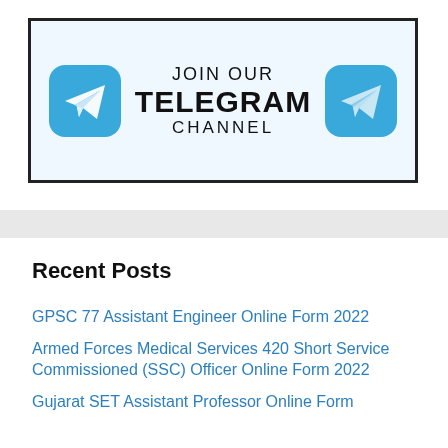[Figure (infographic): Telegram channel promotional banner with two Telegram icons on left and right, and centered text reading JOIN OUR TELEGRAM CHANNEL]
Recent Posts
GPSC 77 Assistant Engineer Online Form 2022
Armed Forces Medical Services 420 Short Service Commissioned (SSC) Officer Online Form 2022
Gujarat SET Assistant Professor Online Form